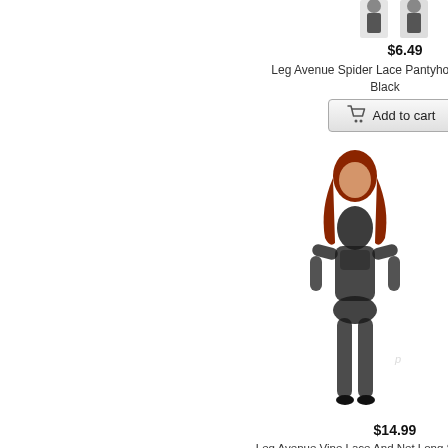$6.49
Leg Avenue Spider Lace Pantyhose - O/s - Black
[Figure (photo): Product photo of Leg Avenue Spider Lace Pantyhose on model, cropped view, black]
[Figure (photo): Add to cart button with shopping cart icon for Spider Lace Pantyhose]
[Figure (photo): Product photo of Leg Avenue Vine Lace And Net Long Sleeved Bodystocking on a standing female model with red hair, wearing a sheer black bodystocking]
$14.99
Leg Avenue Vine Lace And Net Long Sleeved Bodystocking -...
[Figure (photo): Add to cart button with shopping cart icon for Vine Lace Bodystocking]